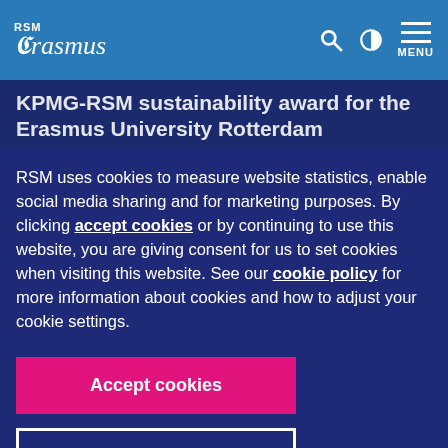RSM Erasmus – navigation bar with logo, search, contrast, and menu icons
KPMG-RSM sustainability award for the Erasmus University Rotterdam
Thursday, 21 April 2022
RSM uses cookies to measure website statistics, enable social media sharing and for marketing purposes. By clicking accept cookies or by continuing to use this website, you are giving consent for us to set cookies when visiting this website. See our cookie policy for more information about cookies and how to adjust your cookie settings.
Accept cookies
Decline cookies